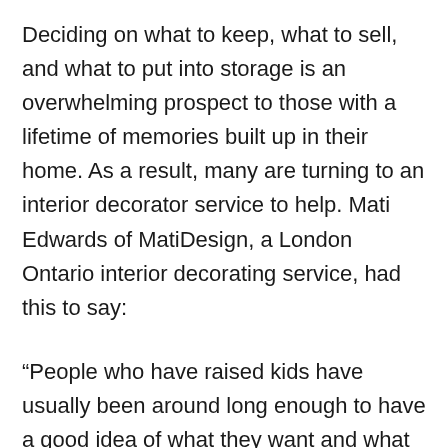Deciding on what to keep, what to sell, and what to put into storage is an overwhelming prospect to those with a lifetime of memories built up in their home. As a result, many are turning to an interior decorator service to help. Mati Edwards of MatiDesign, a London Ontario interior decorating service, had this to say:
“People who have raised kids have usually been around long enough to have a good idea of what they want and what they don’t want in their homes. A good interior decorator knows this, and won’t be pushy or force their ideas down your throat. Instead,